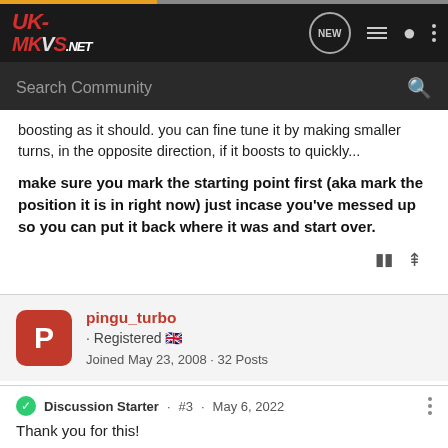[Figure (screenshot): UK-MKVs.NET forum navigation bar with logo and icons]
boosting as it should. you can fine tune it by making smaller turns, in the opposite direction, if it boosts to quickly...
make sure you mark the starting point first (aka mark the position it is in right now) just incase you've messed up so you can put it back where it was and start over.
pingu_turbo · Registered 🇬🇧
Joined May 23, 2008 · 32 Posts
Discussion Starter · #3 · May 6, 2022
Thank you for this!